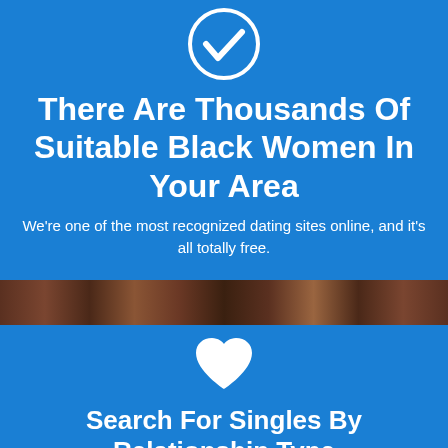[Figure (illustration): White checkmark icon inside a blue circle on blue background]
There Are Thousands Of Suitable Black Women In Your Area
We're one of the most recognized dating sites online, and it's all totally free.
[Figure (photo): Strip of photos showing people]
[Figure (illustration): White heart icon on blue background]
Search For Singles By Relationship Type
One of the most unique features of datememe is that we